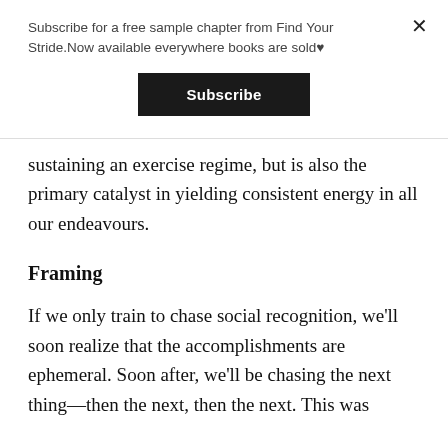Subscribe for a free sample chapter from Find Your Stride.Now available everywhere books are sold♥
Subscribe
sustaining an exercise regime, but is also the primary catalyst in yielding consistent energy in all our endeavours.
Framing
If we only train to chase social recognition, we'll soon realize that the accomplishments are ephemeral. Soon after, we'll be chasing the next thing—then the next, then the next. This was